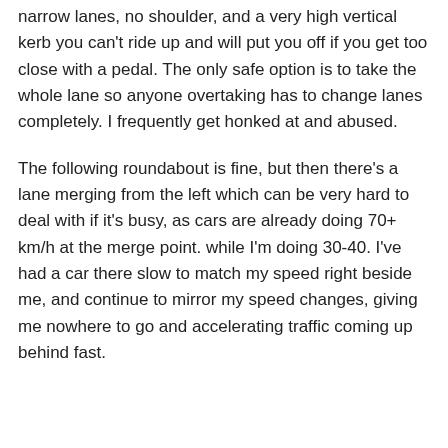narrow lanes, no shoulder, and a very high vertical kerb you can't ride up and will put you off if you get too close with a pedal. The only safe option is to take the whole lane so anyone overtaking has to change lanes completely. I frequently get honked at and abused.
The following roundabout is fine, but then there's a lane merging from the left which can be very hard to deal with if it's busy, as cars are already doing 70+ km/h at the merge point. while I'm doing 30-40. I've had a car there slow to match my speed right beside me, and continue to mirror my speed changes, giving me nowhere to go and accelerating traffic coming up behind fast.